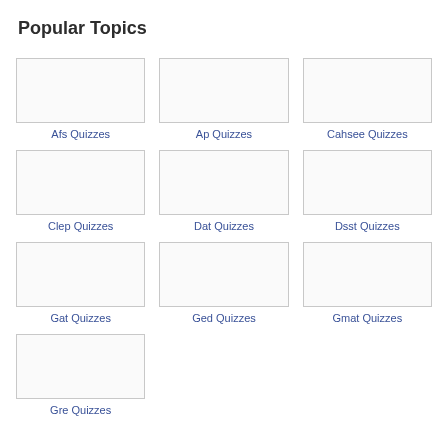Popular Topics
[Figure (other): Thumbnail image placeholder for Afs Quizzes]
Afs Quizzes
[Figure (other): Thumbnail image placeholder for Ap Quizzes]
Ap Quizzes
[Figure (other): Thumbnail image placeholder for Cahsee Quizzes]
Cahsee Quizzes
[Figure (other): Thumbnail image placeholder for Clep Quizzes]
Clep Quizzes
[Figure (other): Thumbnail image placeholder for Dat Quizzes]
Dat Quizzes
[Figure (other): Thumbnail image placeholder for Dsst Quizzes]
Dsst Quizzes
[Figure (other): Thumbnail image placeholder for Gat Quizzes]
Gat Quizzes
[Figure (other): Thumbnail image placeholder for Ged Quizzes]
Ged Quizzes
[Figure (other): Thumbnail image placeholder for Gmat Quizzes]
Gmat Quizzes
[Figure (other): Thumbnail image placeholder for Gre Quizzes]
Gre Quizzes